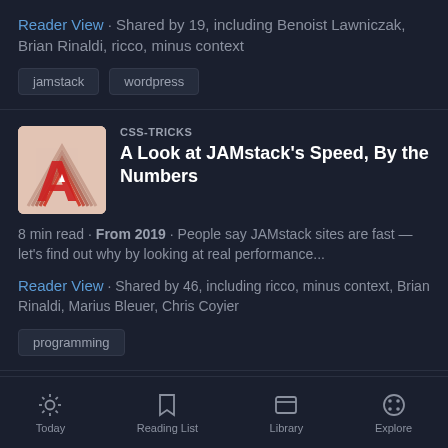Reader View · Shared by 19, including Benoist Lawniczak, Brian Rinaldi, ricco, minus context
jamstack
wordpress
CSS-TRICKS
A Look at JAMstack's Speed, By the Numbers
8 min read · From 2019 · People say JAMstack sites are fast — let's find out why by looking at real performance...
Reader View · Shared by 46, including ricco, minus context, Brian Rinaldi, Marius Bleuer, Chris Coyier
programming
JAMSTACK.WTF
Today · Reading List · Library · Explore